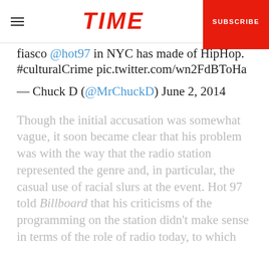TIME | SUBSCRIBE
fiasco @hot97 in NYC has made of HipHop. #culturalCrime pic.twitter.com/wn2FdBToHa
— Chuck D (@MrChuckD) June 2, 2014
Though the initial accusation was somewhat vague, it soon became clear that his problem was with the way that the radio station represented the genre and, in particular, the casual use of racial slurs at the event. Hot 97 told Billboard that his criticisms of the programming on the station didn't make sense in terms of the role of radio today, to which